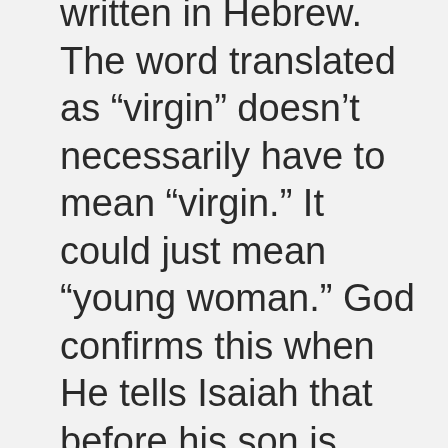written in Hebrew. The word translated as “virgin” doesn’t necessarily have to mean “virgin.” It could just mean “young woman.” God confirms this when He tells Isaiah that before his son is even old enough to say his parents’ name, the threat will be over. The New Testament was written in Greek. In the